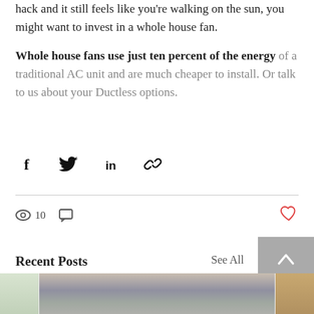hack and it still feels like you're walking on the sun, you might want to invest in a whole house fan.
Whole house fans use just ten percent of the energy of a traditional AC unit and are much cheaper to install. Or talk to us about your Ductless options.
[Figure (infographic): Social share icons: Facebook, Twitter, LinkedIn, and a link/copy icon]
10 views, 0 comments, like (heart) button
Recent Posts
See All
[Figure (photo): Three thumbnail images of recent blog posts partially visible at the bottom of the page]